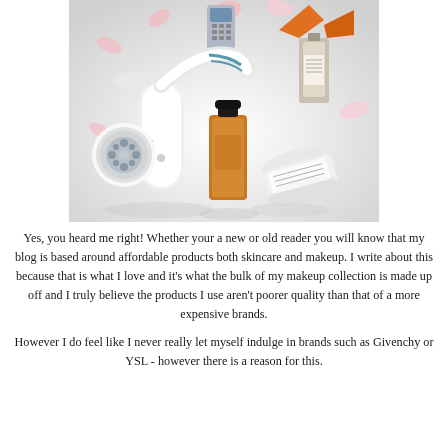[Figure (photo): A promotional product photo showing beauty and skincare items including a Clarisonic facial brush device (white), a small mobile phone, an orange perfume bottle, a white bottle with label, an amber/orange cylindrical container, and a round white cream jar, arranged artistically with pink flower petals on a white background.]
Yes, you heard me right! Whether your a new or old reader you will know that my blog is based around affordable products both skincare and makeup. I write about this because that is what I love and it's what the bulk of my makeup collection is made up off and I truly believe the products I use aren't poorer quality than that of a more expensive brands.
However I do feel like I never really let myself indulge in brands such as Givenchy or YSL - however there is a reason for this.